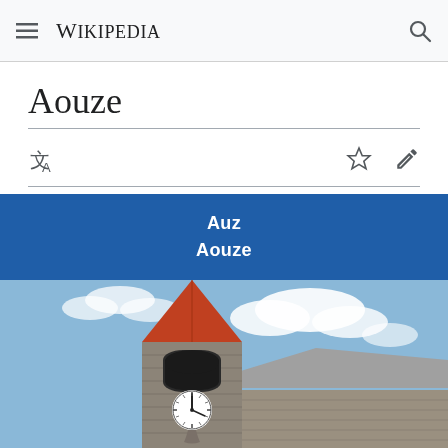≡ WIKIPEDIA 🔍
Aouze
🌐A  ☆  ✏
| Auz |
| Aouze |
[Figure (photo): Photo of a stone church tower with a red pointed roof and a clock face, against a partly cloudy blue sky. The church has stone masonry walls and a weather vane at the top of the steeple.]